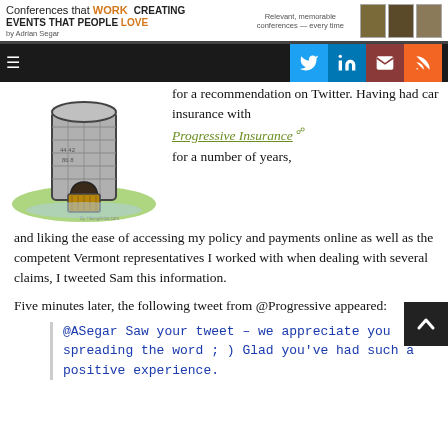Conferences that WORK CREATING EVENTS THAT PEOPLE LOVE by Adrian Segar — Relevant, memorable conferences — every time
[Figure (illustration): Illustrated water tower or stone silo with a drawbridge door, surrounded by green grass, by HikingArtist.com]
for a recommendation on Twitter. Having had car insurance with Progressive Insurance for a number of years, and liking the ease of accessing my policy and payments online as well as the competent Vermont representatives I worked with when dealing with several claims, I tweeted Sam this information.
Five minutes later, the following tweet from @Progressive appeared:
@ASegar Saw your tweet – we appreciate you spreading the word ; ) Glad you've had such a positive experience.